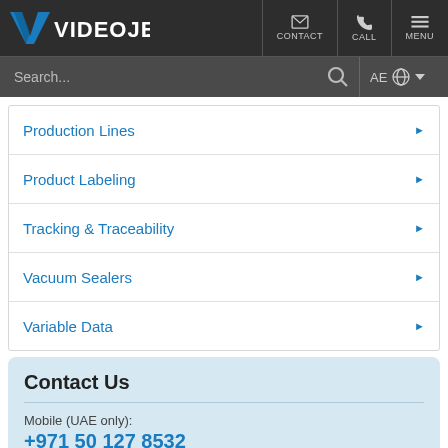Videojet | CONTACT | CALL | MENU
Search... AE
Production Lines
Product Labeling
Tracking & Traceability
Vacuum Sealers
Variable Data
Contact Us
Mobile (UAE only):
+971 50 127 8532
Mobile (International):
+971 50 127 8532